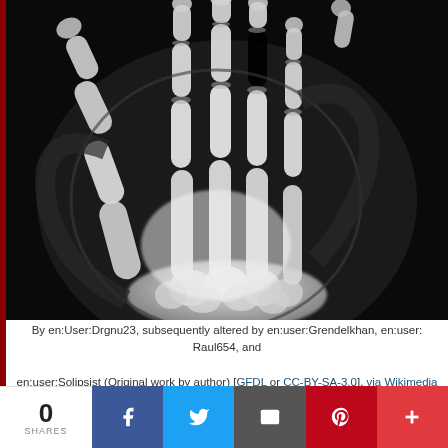[Figure (photo): X-ray image of a human hand showing bones of the fingers, metacarpals, and wrist (carpal bones) against a black background. The image is a dorsal view of the right hand with fingers spread, showing dense white bone structures.]
By en:User:Drgnu23, subsequently altered by en:user:Grendelkhan, en:user: Raul654, and en:user:Solipsist (Original work by author) [GFDL or CC-BY-SA-3.0], via Wikimedia Commons
0 SHARES | Facebook | Twitter | Email | Pinterest | +